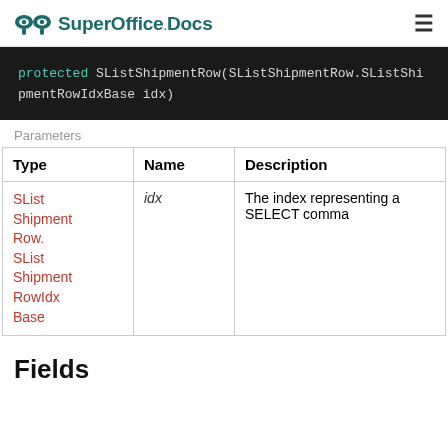SuperOffice.Docs
Parameters
| Type | Name | Description |
| --- | --- | --- |
| SList Shipment Row. SList Shipment RowIdx Base | idx | The index representing a SELECT comma... |
Fields